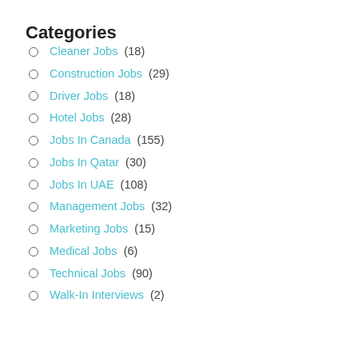Categories
Cleaner Jobs (18)
Construction Jobs (29)
Driver Jobs (18)
Hotel Jobs (28)
Jobs In Canada (155)
Jobs In Qatar (30)
Jobs In UAE (108)
Management Jobs (32)
Marketing Jobs (15)
Medical Jobs (6)
Technical Jobs (90)
Walk-In Interviews (2)